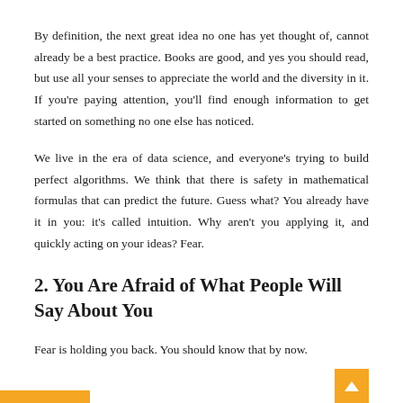By definition, the next great idea no one has yet thought of, cannot already be a best practice. Books are good, and yes you should read, but use all your senses to appreciate the world and the diversity in it. If you're paying attention, you'll find enough information to get started on something no one else has noticed.
We live in the era of data science, and everyone's trying to build perfect algorithms. We think that there is safety in mathematical formulas that can predict the future. Guess what? You already have it in you: it's called intuition. Why aren't you applying it, and quickly acting on your ideas? Fear.
2. You Are Afraid of What People Will Say About You
Fear is holding you back. You should know that by now.